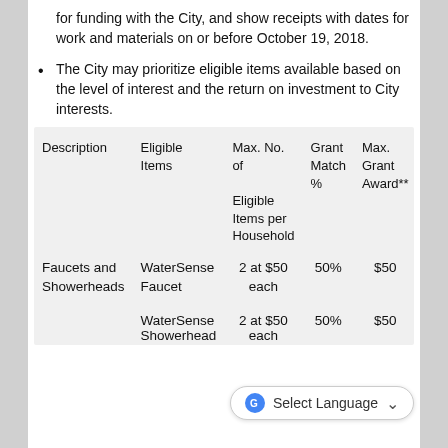for funding with the City, and show receipts with dates for work and materials on or before October 19, 2018.
The City may prioritize eligible items available based on the level of interest and the return on investment to City interests.
| Description | Eligible Items | Max. No. of Eligible Items per Household | Grant Match % | Max. Grant Award** |
| --- | --- | --- | --- | --- |
| Faucets and Showerheads | WaterSense Faucet | 2 at $50 each | 50% | $50 |
|  | WaterSense Showerhead | 2 at $50 each | 50% | $50 |